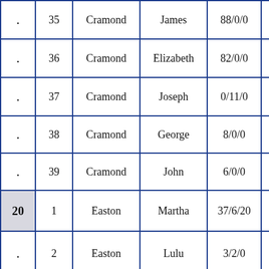|  |  | Last Name | First Name | Values |  |
| --- | --- | --- | --- | --- | --- |
| . | 35 | Cramond | James | 88/0/0 |  |
| . | 36 | Cramond | Elizabeth | 82/0/0 |  |
| . | 37 | Cramond | Joseph | 0/11/0 |  |
| . | 38 | Cramond | George | 8/0/0 |  |
| . | 39 | Cramond | John | 6/0/0 |  |
| 20 | 1 | Easton | Martha | 37/6/20 |  |
| . | 2 | Easton | Lulu | 3/2/0 |  |